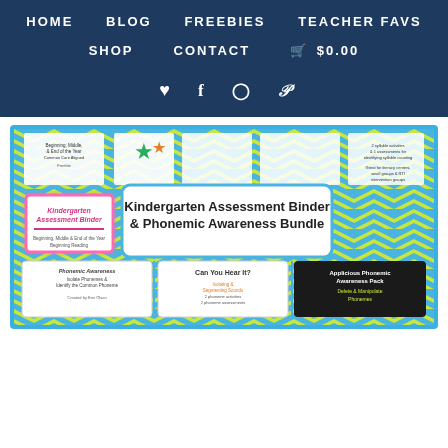HOME   BLOG   FREEBIES   TEACHER FAVS   SHOP   CONTACT   $0.00
[Figure (screenshot): Navigation bar with HOME, BLOG, FREEBIES, TEACHER FAVS, SHOP, CONTACT, cart $0.00, and social icons (heart, facebook, instagram, pinterest) on dark navy background]
[Figure (photo): Kindergarten Assessment Binder & Phonemic Awareness Bundle product image showing colorful educational materials with chevron border]